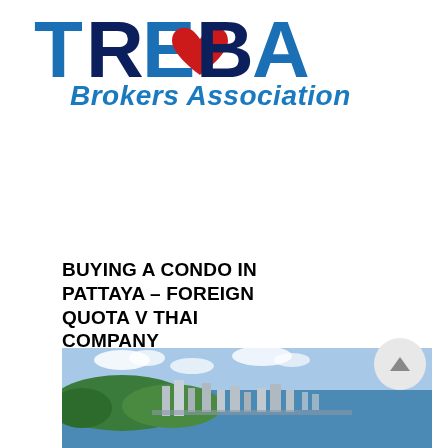[Figure (logo): TREBA Brokers Association logo with large stylized letters TREBA in blue/dark blue and a red heart shape, with 'Brokers Association' in blue italic text below]
BUYING A CONDO IN PATTAYA – FOREIGN QUOTA V THAI COMPANY
[Figure (photo): Aerial photograph of Pattaya coastline showing city buildings, green hills, and the Gulf of Thailand]